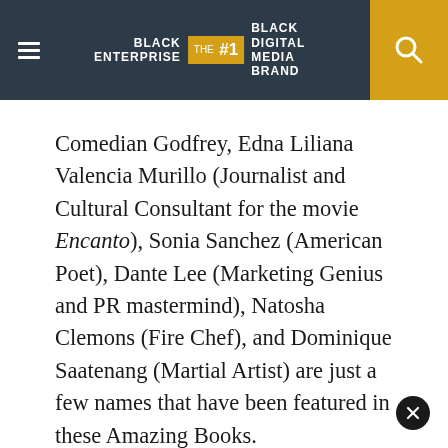BLACK ENTERPRISE THE #1 BLACK DIGITAL MEDIA BRAND
Comedian Godfrey, Edna Liliana Valencia Murillo (Journalist and Cultural Consultant for the movie Encanto), Sonia Sanchez (American Poet), Dante Lee (Marketing Genius and PR mastermind), Natosha Clemons (Fire Chef), and Dominique Saatenang (Martial Artist) are just a few names that have been featured in these Amazing Books.